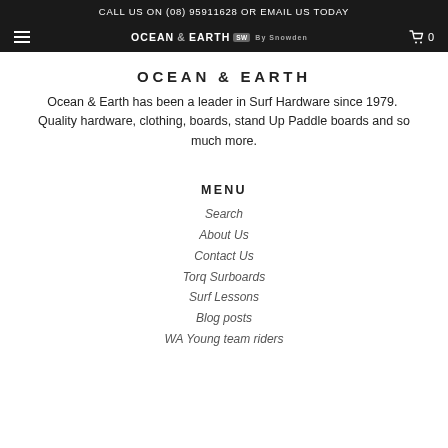CALL US ON (08) 95911628 OR EMAIL US TODAY
[Figure (logo): Ocean & Earth logo with navigation bar including hamburger menu, brand logo text, and cart icon with 0]
OCEAN & EARTH
Ocean & Earth has been a leader in Surf Hardware since 1979. Quality hardware, clothing, boards, stand Up Paddle boards and so much more.
MENU
Search
About Us
Contact Us
Torq Surboards
Surf Lessons
Blog posts
WA Young team riders